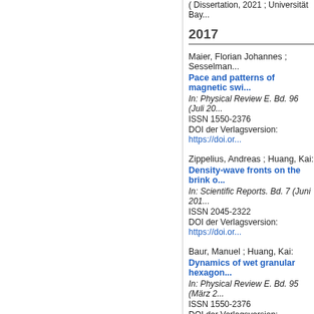(Dissertation, 2021 ; Universität Bayreuth)
2017
Maier, Florian Johannes ; Sesselman...
Pace and patterns of magnetic swi...
In: Physical Review E. Bd. 96 (Juli 20...)
ISSN 1550-2376
DOI der Verlagsversion: https://doi.or...
Zippelius, Andreas ; Huang, Kai:
Density-wave fronts on the brink o...
In: Scientific Reports. Bd. 7 (Juni 2017...)
ISSN 2045-2322
DOI der Verlagsversion: https://doi.or...
Baur, Manuel ; Huang, Kai:
Dynamics of wet granular hexagon...
In: Physical Review E. Bd. 95 (März 2...)
ISSN 1550-2376
DOI der Verlagsversion: https://doi.or...
2016
Müller, Thomas ; Huang, Kai:
Influence of the liquid film thicknes...
In: Physical Review E. Bd. 93 (2016)...